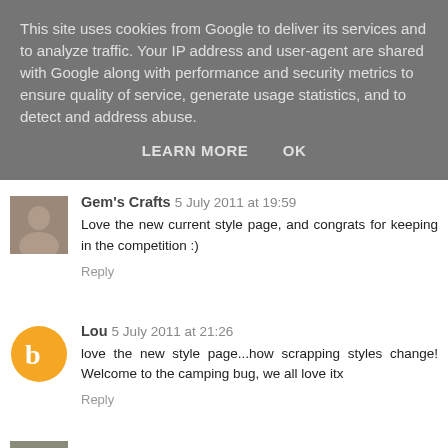This site uses cookies from Google to deliver its services and to analyze traffic. Your IP address and user-agent are shared with Google along with performance and security metrics to ensure quality of service, generate usage statistics, and to detect and address abuse.
LEARN MORE    OK
Gem's Crafts  5 July 2011 at 19:59
Love the new current style page, and congrats for keeping in the competition :)
Reply
Lou  5 July 2011 at 21:26
love the new style page...how scrapping styles change! Welcome to the camping bug, we all love itx
Reply